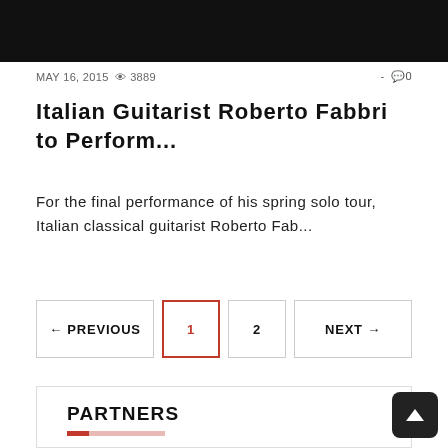[Figure (photo): Top portion of a photo showing a person in dark clothing against a dark background]
MAY 16, 2015  👁 3889  -  💬 0
Italian Guitarist Roberto Fabbri to Perform...
For the final performance of his spring solo tour, Italian classical guitarist Roberto Fab...
← PREVIOUS  1  2  NEXT →
PARTNERS